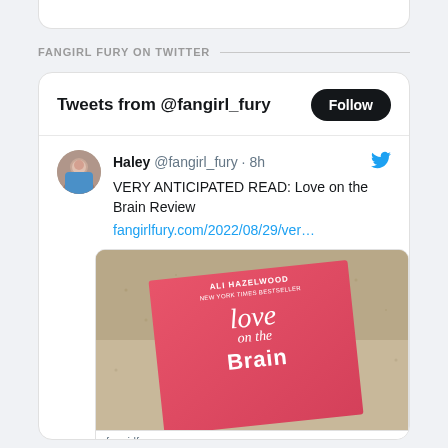FANGIRL FURY ON TWITTER
[Figure (screenshot): Twitter widget showing tweets from @fangirl_fury with a Follow button, and a tweet by Haley @fangirl_fury about 'VERY ANTICIPATED READ: Love on the Brain Review' with a link to fangirlfury.com/2022/08/29/ver... and an image of the book 'Love on the Brain' by Ali Hazelwood held on a sandy beach.]